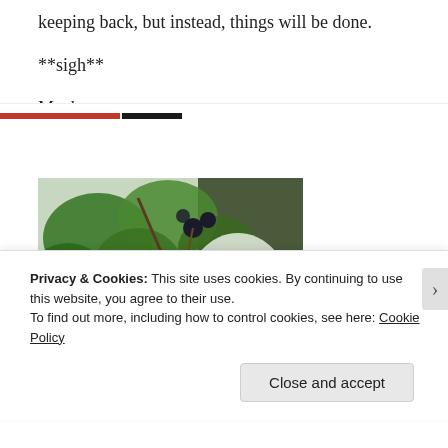keeping back, but instead, things will be done.
**sigh**
Maybe next summer.....
[Figure (photo): Close-up photo of green leafy plants with white and dark flowers or berries, outdoor garden setting]
Privacy & Cookies: This site uses cookies. By continuing to use this website, you agree to their use.
To find out more, including how to control cookies, see here: Cookie Policy
Close and accept